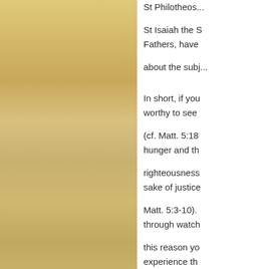[Figure (photo): Wooden panel or book cover with wood grain texture, golden/amber color, occupying the left two-thirds of the page]
St Philotheos...
St Isaiah the S... Fathers, have...
about the subj...
In short, if you... worthy to see...
(cf. Matt. 5:18... hunger and th...
righteousness... sake of justice...
Matt. 5:3-10).... through watch...
this reason yo... experience th...